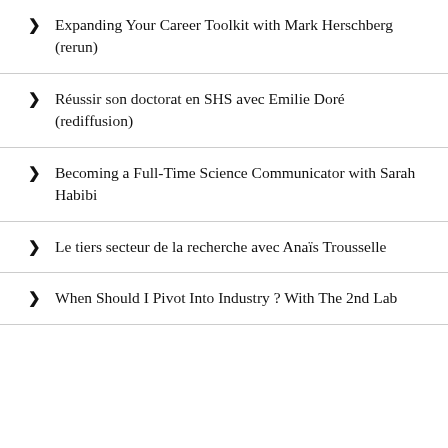Expanding Your Career Toolkit with Mark Herschberg (rerun)
Réussir son doctorat en SHS avec Emilie Doré (rediffusion)
Becoming a Full-Time Science Communicator with Sarah Habibi
Le tiers secteur de la recherche avec Anaïs Trousselle
When Should I Pivot Into Industry ? With The 2nd Lab